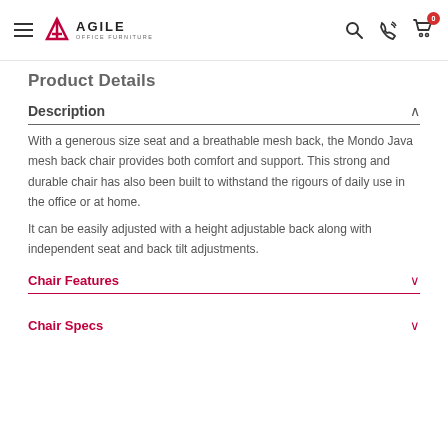AGILE OFFICE FURNITURE
Product Details
Description
With a generous size seat and a breathable mesh back, the Mondo Java mesh back chair provides both comfort and support. This strong and durable chair has also been built to withstand the rigours of daily use in the office or at home.
It can be easily adjusted with a height adjustable back along with independent seat and back tilt adjustments.
Chair Features
Chair Specs